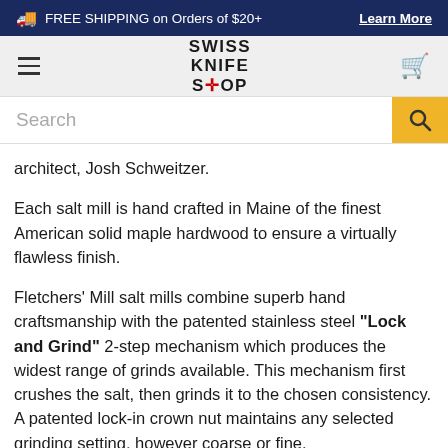FREE SHIPPING on Orders of $20+  Learn More
[Figure (logo): Swiss Knife Shop logo with hamburger menu and cart icon]
Search
architect, Josh Schweitzer.
Each salt mill is hand crafted in Maine of the finest American solid maple hardwood to ensure a virtually flawless finish.
Fletchers' Mill salt mills combine superb hand craftsmanship with the patented stainless steel "Lock and Grind" 2-step mechanism which produces the widest range of grinds available. This mechanism first crushes the salt, then grinds it to the chosen consistency. A patented lock-in crown nut maintains any selected grinding setting, however coarse or fine.